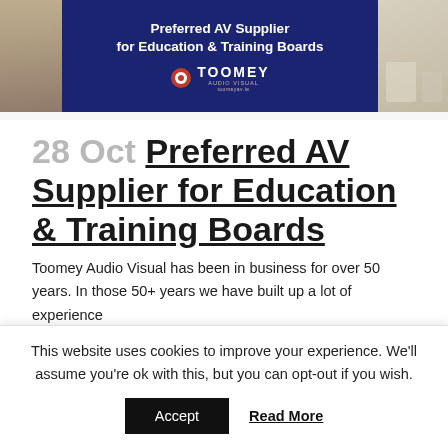[Figure (photo): Banner image showing Toomey Audio Visual as Preferred AV Supplier for Education & Training Boards, with dark navy background, white bold text, Toomey logo, and classroom/student photos on sides.]
28 Oct Preferred AV Supplier for Education & Training Boards
Toomey Audio Visual has been in business for over 50 years. In those 50+ years we have built up a lot of experience
This website uses cookies to improve your experience. We'll assume you're ok with this, but you can opt-out if you wish.